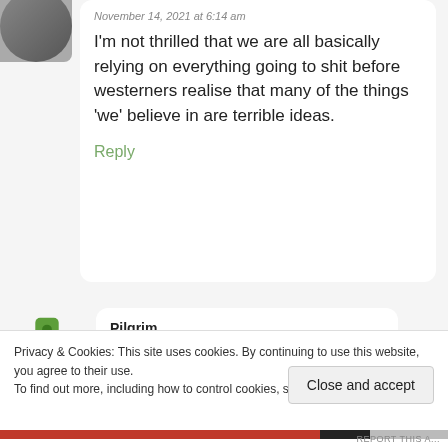November 14, 2021 at 6:14 am
I’m not thrilled that we are all basically relying on everything going to shit before westerners realise that many of the things ‘we’ believe in are terrible ideas.
Reply
Pilgrim
November 21, 2021 at 6:54 am
Privacy & Cookies: This site uses cookies. By continuing to use this website, you agree to their use.
To find out more, including how to control cookies, see here: Cookie Policy
Close and accept